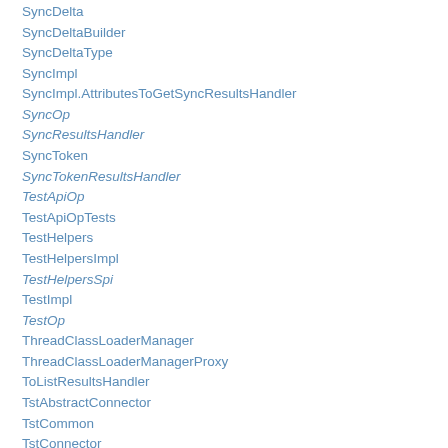SyncDelta
SyncDeltaBuilder
SyncDeltaType
SyncImpl
SyncImpl.AttributesToGetSyncResultsHandler
SyncOp
SyncResultsHandler
SyncToken
SyncTokenResultsHandler
TestApiOp
TestApiOpTests
TestHelpers
TestHelpersImpl
TestHelpersSpi
TestImpl
TestOp
ThreadClassLoaderManager
ThreadClassLoaderManagerProxy
ToListResultsHandler
TstAbstractConnector
TstCommon
TstConnector
TstConnectorConfig
TstStatefulConnector
TstStatefulConnectorConfig
TstStatefulPoolableConnector
Uid
UnknownUidException